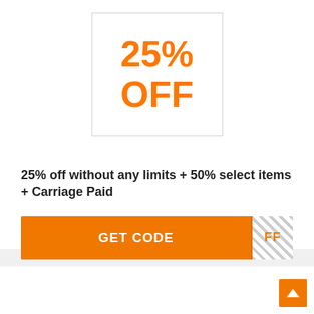[Figure (other): Orange text '25% OFF' inside a bordered white box, serving as a discount badge]
25% off without any limits + 50% select items + Carriage Paid
[Figure (other): Orange 'GET CODE' button with hatched reveal area showing 'FF' on the right side]